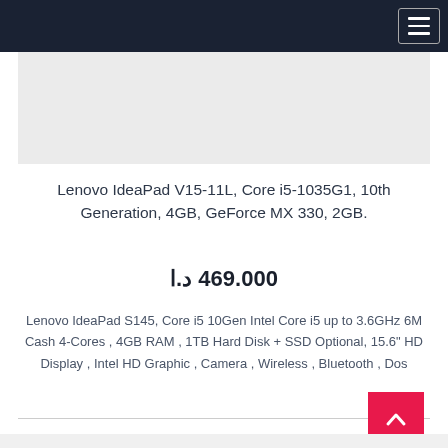[Figure (screenshot): Navigation bar with dark background and hamburger menu icon in top right corner]
[Figure (photo): Product image placeholder area with light gray background]
Lenovo IdeaPad V15-11L, Core i5-1035G1, 10th Generation, 4GB, GeForce MX 330, 2GB.
469.000 د.ا
Lenovo IdeaPad S145, Core i5 10Gen Intel Core i5 up to 3.6GHz 6M Cash 4-Cores , 4GB RAM , 1TB Hard Disk + SSD Optional, 15.6" HD Display , Intel HD Graphic , Camera , Wireless , Bluetooth , Dos